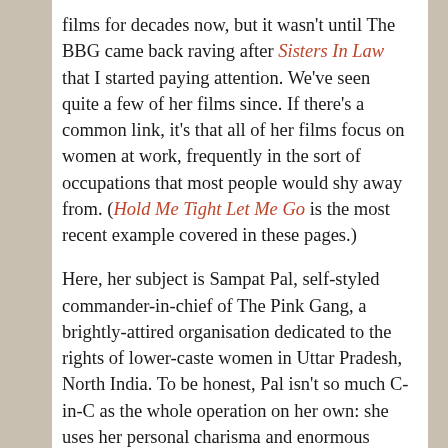films for decades now, but it wasn't until The BBG came back raving after Sisters In Law that I started paying attention. We've seen quite a few of her films since. If there's a common link, it's that all of her films focus on women at work, frequently in the sort of occupations that most people would shy away from. (Hold Me Tight Let Me Go is the most recent example covered in these pages.)
Here, her subject is Sampat Pal, self-styled commander-in-chief of The Pink Gang, a brightly-attired organisation dedicated to the rights of lower-caste women in Uttar Pradesh, North India. To be honest, Pal isn't so much C-in-C as the whole operation on her own: she uses her personal charisma and enormous yelling voice to beat men into